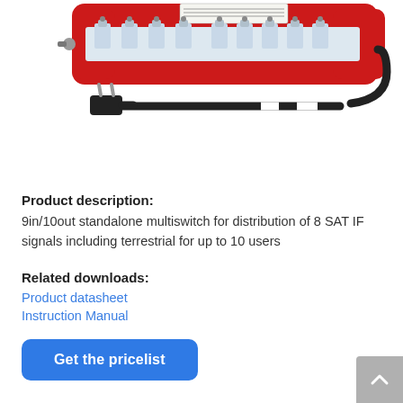[Figure (illustration): Photo/illustration of a red 9in/10out standalone multiswitch device with multiple coaxial connector ports on top, a power cable with EU plug shown below it via a dashed line connecting to the device.]
Product description:
9in/10out standalone multiswitch for distribution of 8 SAT IF signals including terrestrial for up to 10 users
Related downloads:
Product datasheet
Instruction Manual
Get the pricelist